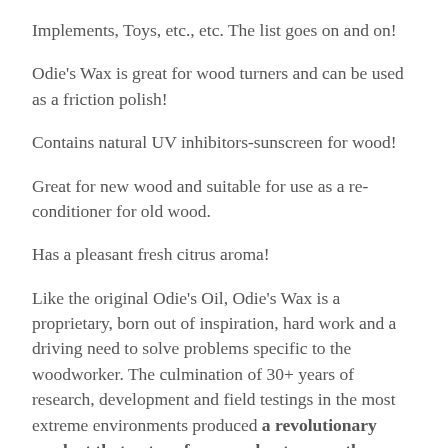Implements, Toys, etc., etc. The list goes on and on!
Odie's Wax is great for wood turners and can be used as a friction polish!
Contains natural UV inhibitors-sunscreen for wood!
Great for new wood and suitable for use as a re-conditioner for old wood.
Has a pleasant fresh citrus aroma!
Like the original Odie's Oil, Odie's Wax is a proprietary, born out of inspiration, hard work and a driving need to solve problems specific to the woodworker. The culmination of 30+ years of research, development and field testings in the most extreme environments produced a revolutionary product that out performs and out covers the competition.
Odie's Wax is easy to use! No sanding or stripping in